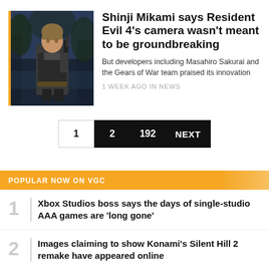[Figure (photo): Resident Evil 4 character holding a gun against a dark blue-green forest background]
Shinji Mikami says Resident Evil 4's camera wasn't meant to be groundbreaking
But developers including Masahiro Sakurai and the Gears of War team praised its innovation
1 WEEK AGO IN NEWS
1 2 192 NEXT
POPULAR NOW ON VGC
Xbox Studios boss says the days of single-studio AAA games are 'long gone'
Images claiming to show Konami's Silent Hill 2 remake have appeared online